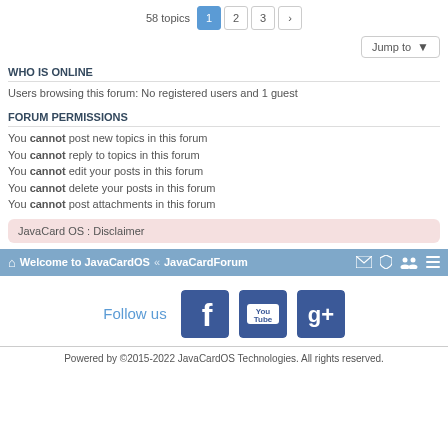58 topics  1  2  3  >
Jump to
WHO IS ONLINE
Users browsing this forum: No registered users and 1 guest
FORUM PERMISSIONS
You cannot post new topics in this forum
You cannot reply to topics in this forum
You cannot edit your posts in this forum
You cannot delete your posts in this forum
You cannot post attachments in this forum
JavaCard OS : Disclaimer
Welcome to JavaCardOS « JavaCardForum
Follow us
Powered by ©2015-2022 JavaCardOS Technologies. All rights reserved.